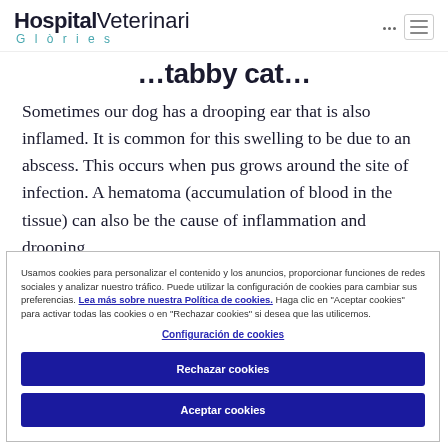Hospital Veterinari Glòries
…tabby cat…
Sometimes our dog has a drooping ear that is also inflamed. It is common for this swelling to be due to an abscess. This occurs when pus grows around the site of infection. A hematoma (accumulation of blood in the tissue) can also be the cause of inflammation and drooping
Usamos cookies para personalizar el contenido y los anuncios, proporcionar funciones de redes sociales y analizar nuestro tráfico. Puede utilizar la configuración de cookies para cambiar sus preferencias. Lea más sobre nuestra Política de cookies. Haga clic en "Aceptar cookies" para activar todas las cookies o en "Rechazar cookies" si desea que las utilicemos.
Configuración de cookies
Rechazar cookies
Aceptar cookies